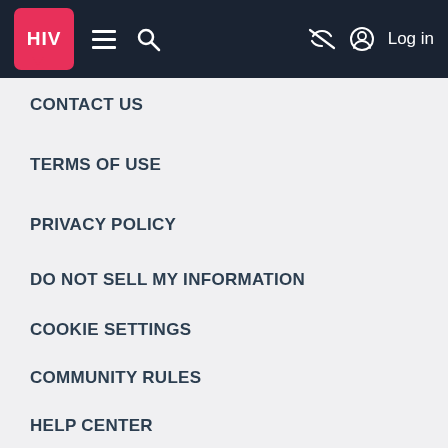HIV logo navigation bar with menu, search, and Log in
CONTACT US
TERMS OF USE
PRIVACY POLICY
DO NOT SELL MY INFORMATION
COOKIE SETTINGS
COMMUNITY RULES
HELP CENTER
AD CHOICES
[Figure (logo): Health Union logo with purple 'health' text and blue chat bubble icon and teal 'union' text]
AdvancedBreastCancer.net
AdvancedOvarianCancer.net